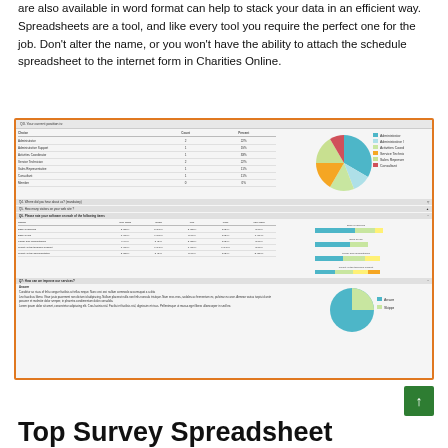are also available in word format can help to stack your data in an efficient way. Spreadsheets are a tool, and like every tool you require the perfect one for the job. Don't alter the name, or you won't have the ability to attach the schedule spreadsheet to the internet form in Charities Online.
[Figure (screenshot): Screenshot of an online survey results interface showing tables with position data, a pie chart of position breakdown, a rating table with options and counts, a stacked bar chart of software ratings, and a text answer section with another pie chart.]
Top Survey Spreadsheet